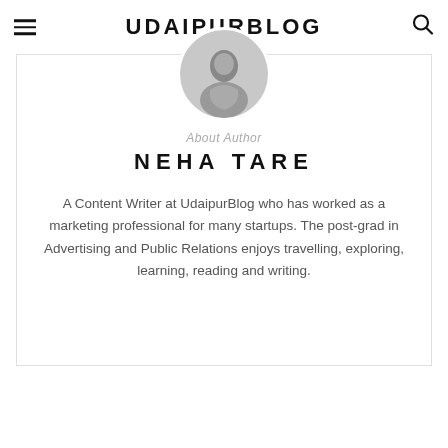UDAIPURBLOG
[Figure (photo): Circular avatar photo of Neha Tare in black and white]
About Author
NEHA TARE
A Content Writer at UdaipurBlog who has worked as a marketing professional for many startups. The post-grad in Advertising and Public Relations enjoys travelling, exploring, learning, reading and writing.